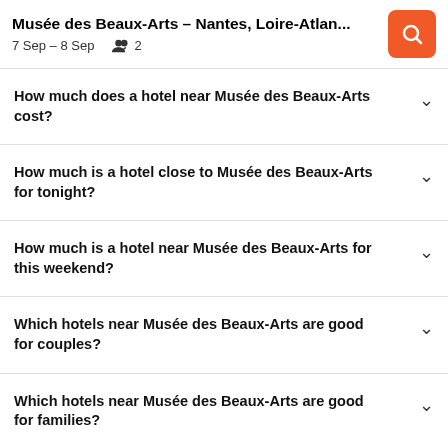Musée des Beaux-Arts – Nantes, Loire-Atlan… | 7 Sep – 8 Sep  👥 2
How much does a hotel near Musée des Beaux-Arts cost?
How much is a hotel close to Musée des Beaux-Arts for tonight?
How much is a hotel near Musée des Beaux-Arts for this weekend?
Which hotels near Musée des Beaux-Arts are good for couples?
Which hotels near Musée des Beaux-Arts are good for families?